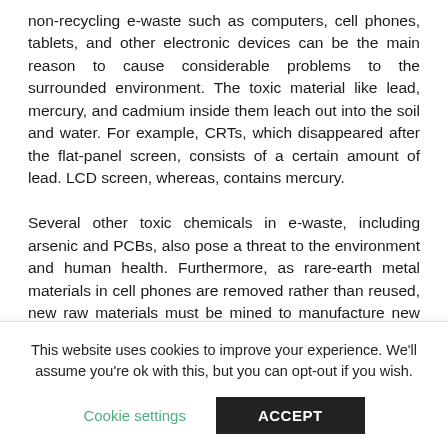non-recycling e-waste such as computers, cell phones, tablets, and other electronic devices can be the main reason to cause considerable problems to the surrounded environment. The toxic material like lead, mercury, and cadmium inside them leach out into the soil and water. For example, CRTs, which disappeared after the flat-panel screen, consists of a certain amount of lead. LCD screen, whereas, contains mercury.

Several other toxic chemicals in e-waste, including arsenic and PCBs, also pose a threat to the environment and human health. Furthermore, as rare-earth metal materials in cell phones are removed rather than reused, new raw materials must be mined to manufacture new products. In several
This website uses cookies to improve your experience. We'll assume you're ok with this, but you can opt-out if you wish.
Cookie settings   ACCEPT